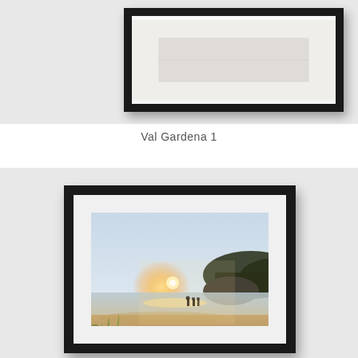[Figure (photo): Framed landscape artwork (partially visible at top), mounted in a black frame with white mat, displayed on a light gray wall background. Top portion is cropped.]
Val Gardena 1
[Figure (photo): Framed beach photograph in a black frame with white mat, showing a coastal scene at golden hour/sunset with silhouettes of people on the beach, ocean, and a rocky headland with trees in the background. Green coastal grasses in the foreground are slightly blurred. Displayed on a light gray wall background.]